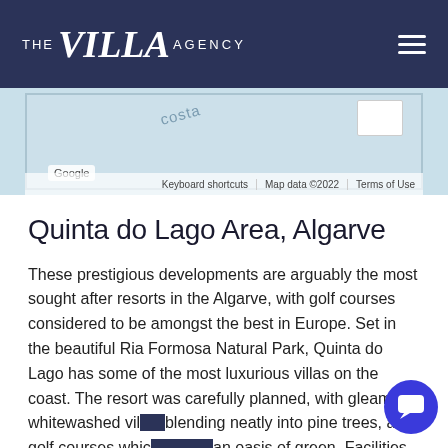THE Villa AGENCY
[Figure (screenshot): Google Maps partial view showing a coastal area map with 'Costa' text visible, Google logo, keyboard shortcuts, map data ©2022, and Terms of Use labels.]
Quinta do Lago Area, Algarve
These prestigious developments are arguably the most sought after resorts in the Algarve, with golf courses considered to be amongst the best in Europe. Set in the beautiful Ria Formosa Natural Park, Quinta do Lago has some of the most luxurious villas on the coast. The resort was carefully planned, with gleaming, whitewashed villas blending neatly into pine trees, and golf courses which create an oasis of green. Facilities include floodlit tennis courts